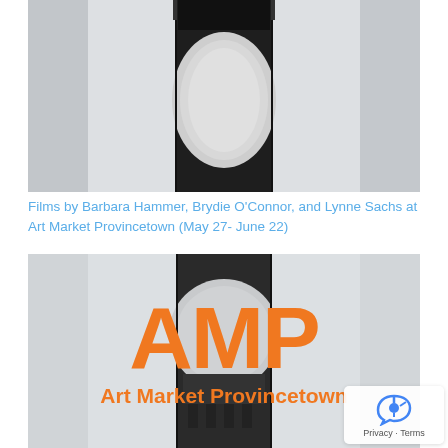[Figure (photo): Close-up photograph of a vacuum tube showing dark metallic top portion with rounded oval silver/metallic reflective element against light gray background]
Films by Barbara Hammer, Brydie O'Connor, and Lynne Sachs at Art Market Provincetown (May 27- June 22)
[Figure (logo): Art Market Provincetown logo showing 'AMP' in large orange bold letters and 'Art Market Provincetown' in orange below, overlaid on a vacuum tube photograph]